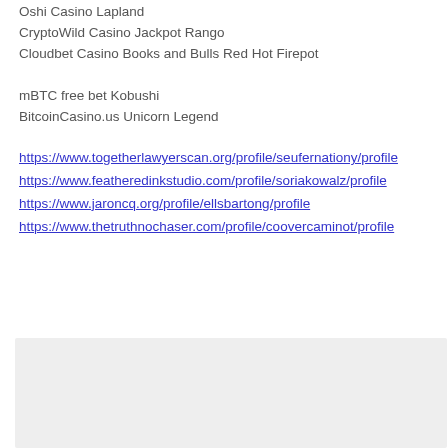Oshi Casino Lapland
CryptoWild Casino Jackpot Rango
Cloudbet Casino Books and Bulls Red Hot Firepot
mBTC free bet Kobushi
BitcoinCasino.us Unicorn Legend
https://www.togetherlawyerscan.org/profile/seufernationy/profile
https://www.featheredinkstudio.com/profile/soriakowalz/profile
https://www.jaroncq.org/profile/ellsbartong/profile
https://www.thetruthnochaser.com/profile/coovercaminot/profile
[Figure (other): Shopping bag with heart icon in a purple circle, on a light grey background panel]